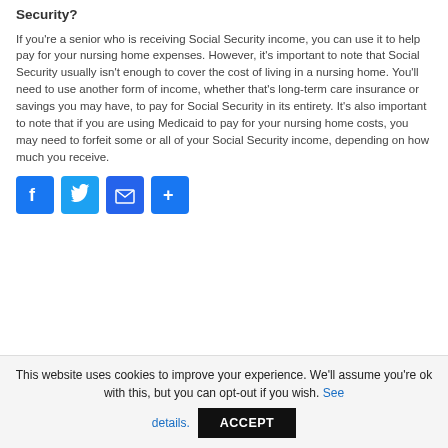Security?
If you're a senior who is receiving Social Security income, you can use it to help pay for your nursing home expenses. However, it's important to note that Social Security usually isn't enough to cover the cost of living in a nursing home. You'll need to use another form of income, whether that's long-term care insurance or savings you may have, to pay for Social Security in its entirety. It's also important to note that if you are using Medicaid to pay for your nursing home costs, you may need to forfeit some or all of your Social Security income, depending on how much you receive.
[Figure (infographic): Social media share buttons: Facebook (blue), Twitter (light blue), Email (blue), More/Share (blue)]
This website uses cookies to improve your experience. We'll assume you're ok with this, but you can opt-out if you wish. See details. ACCEPT